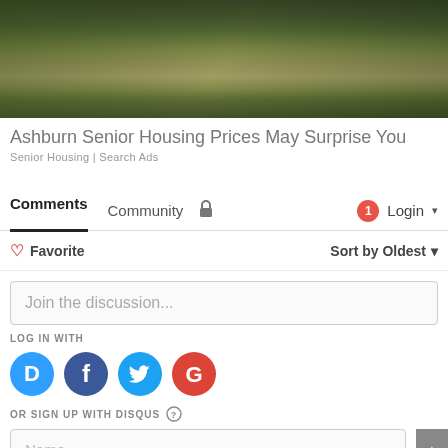[Figure (photo): Aerial or landscape photo of grassy open land with trees in the background, dark green foliage]
Ashburn Senior Housing Prices May Surprise You
Senior Housing | Search Ads
Comments  Community  🔒  1  Login ▾
♡ Favorite    Sort by Oldest ▾
Join the discussion...
LOG IN WITH
[Figure (logo): Social login icons: Disqus (blue D), Facebook (dark blue f), Twitter (light blue bird), Google (red G)]
OR SIGN UP WITH DISQUS ?
Name